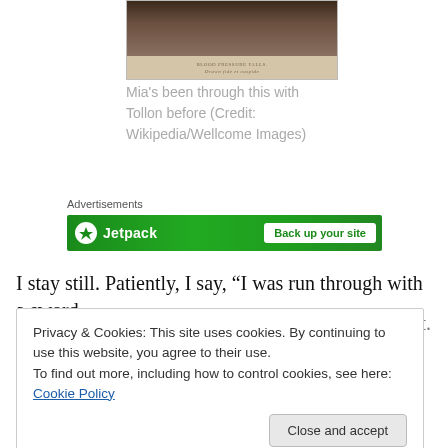[Figure (photo): Historical engraving or illustration with sepia/brown tones, showing a dark scene. Below the image area is text that reads 'BLOOD PRESSURE FALLS.' and a subtitle line in cursive.]
Mia's been through this with Tollon before (Credit: Wikipedia/Wellcome Images)
Advertisements
[Figure (other): Jetpack advertisement banner with green background, white Jetpack logo with lightning bolt icon on left, and 'Back up your site' button on right.]
I stay still. Patiently, I say, “I was run through with a sword.
I expect I suffered blood loss. So I should feel faint. What
Privacy & Cookies: This site uses cookies. By continuing to use this website, you agree to their use.
To find out more, including how to control cookies, see here: Cookie Policy
Close and accept